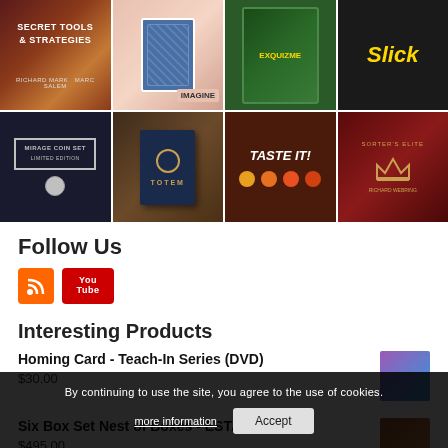[Figure (other): 3x4 grid of magic product images: Secret Tools & Strategies, Imagine (card trick), ExQuizMe, Slick, Mirage Coin Set, Totem, Taste It!, Sorter's Elite]
Follow Us
[Figure (other): RSS feed icon (orange) and YouTube icon (red)]
Interesting Products
Homing Card - Teach-In Series (DVD)
$30.00
Six Box Set Nest of Boxes - ESTATE
$495.00
By continuing to use the site, you agree to the use of cookies.
more information
Accept